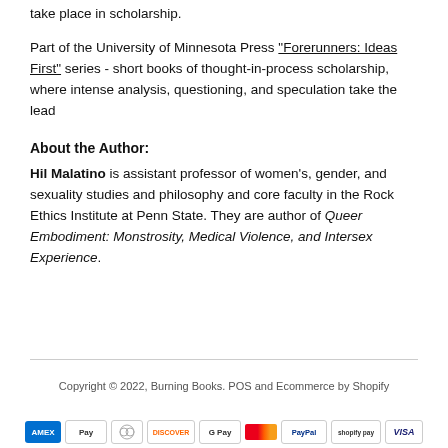take place in scholarship.
Part of the University of Minnesota Press "Forerunners: Ideas First" series - short books of thought-in-process scholarship, where intense analysis, questioning, and speculation take the lead
About the Author:
Hil Malatino is assistant professor of women's, gender, and sexuality studies and philosophy and core faculty in the Rock Ethics Institute at Penn State. They are author of Queer Embodiment: Monstrosity, Medical Violence, and Intersex Experience.
Copyright © 2022, Burning Books. POS and Ecommerce by Shopify
[Figure (other): Payment method icons: American Express, Apple Pay, Diners Club, Discover, Google Pay, Mastercard, PayPal, Shopify Pay, Visa]